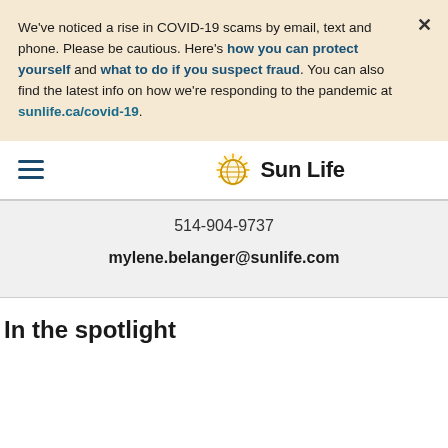We've noticed a rise in COVID-19 scams by email, text and phone. Please be cautious. Here's how you can protect yourself and what to do if you suspect fraud. You can also find the latest info on how we're responding to the pandemic at sunlife.ca/covid-19.
[Figure (logo): Sun Life logo with golden sun/globe icon and 'Sun Life' text]
514-904-9737
mylene.belanger@sunlife.com
In the spotlight